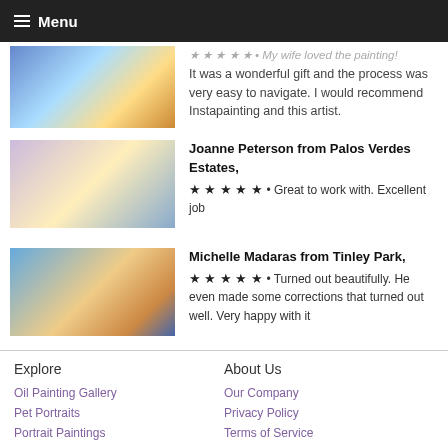Menu
★★★★★ • My wife loved the painting! It was a wonderful gift and the process was very easy to navigate. I would recommend Instapainting and this artist.
Joanne Peterson from Palos Verdes Estates,
★★★★★ • Great to work with. Excellent job
Michelle Madaras from Tinley Park,
★★★★★ • Turned out beautifully. He even made some corrections that turned out well. Very happy with it
Explore
About Us
Oil Painting Gallery
Our Company
Pet Portraits
Privacy Policy
Portrait Paintings
Terms of Service